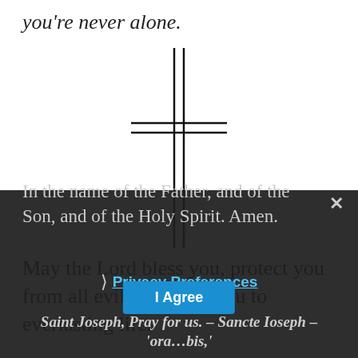you're never alone.
[Figure (illustration): A double-lined Christian cross rendered in black outline on white background]
May the Lord bless you, protect you from all evil and bring you to everlasting life.
In the name of the Father, and of the Son, and of the Holy Spirit. Amen.
Privacy Preferences
I Agree
Saint Joseph, Pray for us. – Sancte Ioseph – 'ora…bis,'